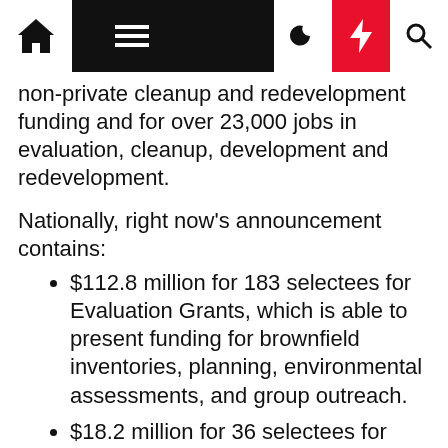Navigation bar with home, menu, moon, lightning, and search icons
non-private cleanup and redevelopment funding and for over 23,000 jobs in evaluation, cleanup, development and redevelopment.
Nationally, right now's announcement contains:
$112.8 million for 183 selectees for Evaluation Grants, which is able to present funding for brownfield inventories, planning, environmental assessments, and group outreach.
$18.2 million for 36 selectees for Cleanup Grants, which is able to present funding to hold out cleanup actions at brownfield websites owned by the recipient.
$16.3 million for 17 selectees for Revolving Mortgage Fund grants that may present funding for recipients to